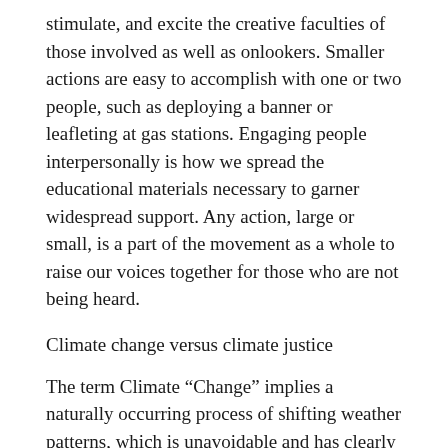stimulate, and excite the creative faculties of those involved as well as onlookers. Smaller actions are easy to accomplish with one or two people, such as deploying a banner or leafleting at gas stations. Engaging people interpersonally is how we spread the educational materials necessary to garner widespread support. Any action, large or small, is a part of the movement as a whole to raise our voices together for those who are not being heard.
Climate change versus climate justice
The term Climate “Change” implies a naturally occurring process of shifting weather patterns, which is unavoidable and has clearly begun. Climate Justice recognizes that racial and economic prejudice and corporate control are core causes of climate disruption. Corporations have been interfering in scientific disc…